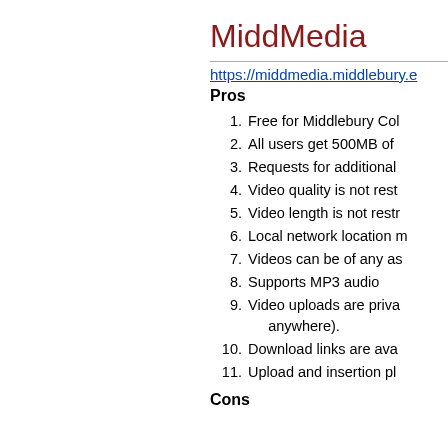MiddMedia
https://middmedia.middlebury.e
Pros
1. Free for Middlebury Col
2. All users get 500MB of
3. Requests for additional
4. Video quality is not rest
5. Video length is not restr
6. Local network location m
7. Videos can be of any as
8. Supports MP3 audio
9. Video uploads are priva anywhere).
10. Download links are ava
11. Upload and insertion pl
Cons